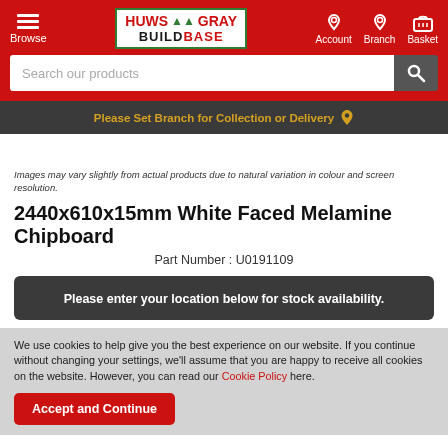Browse | HUWS GRAY BUILDBASE | Account | Branch | Basket
Search our products
Please Set Branch for Collection or Delivery
Images may vary slightly from actual products due to natural variation in colour and screen resolution.
2440x610x15mm White Faced Melamine Chipboard
Part Number : U0191109
Please enter your location below for stock availability.
We use cookies to help give you the best experience on our website. If you continue without changing your settings, we'll assume that you are happy to receive all cookies on the website. However, you can read our Cookie Policy here.